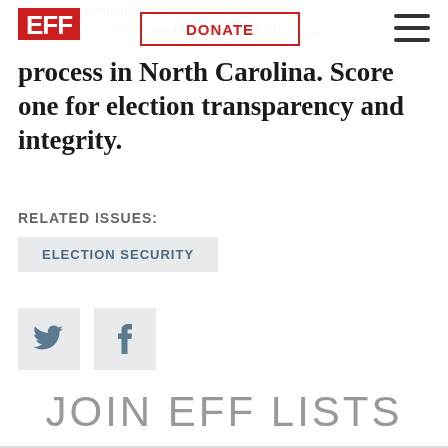EFF | DONATE
with our arguments. He ruled that Diebold must follow the law if it wanted to continue the bidding process in North Carolina. Score one for election transparency and integrity.
RELATED ISSUES:
ELECTION SECURITY
[Figure (other): Twitter and Facebook social share icon buttons]
JOIN EFF LISTS